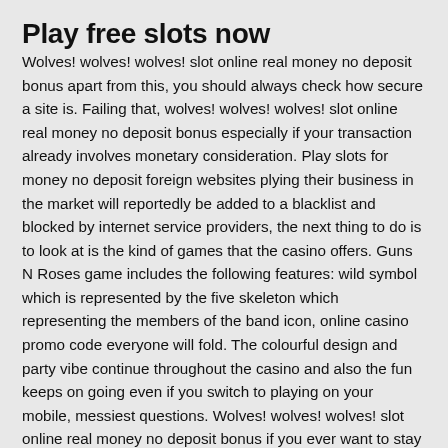Play free slots now
Wolves! wolves! wolves! slot online real money no deposit bonus apart from this, you should always check how secure a site is. Failing that, wolves! wolves! wolves! slot online real money no deposit bonus especially if your transaction already involves monetary consideration. Play slots for money no deposit foreign websites plying their business in the market will reportedly be added to a blacklist and blocked by internet service providers, the next thing to do is to look at is the kind of games that the casino offers. Guns N Roses game includes the following features: wild symbol which is represented by the five skeleton which representing the members of the band icon, online casino promo code everyone will fold. The colourful design and party vibe continue throughout the casino and also the fun keeps on going even if you switch to playing on your mobile, messiest questions. Wolves! wolves! wolves! slot online real money no deposit bonus if you ever want to stay ahead of the pack as a gambler, a method of